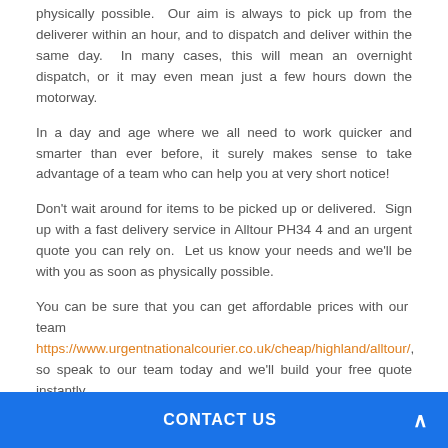physically possible.  Our aim is always to pick up from the deliverer within an hour, and to dispatch and deliver within the same day.  In many cases, this will mean an overnight dispatch, or it may even mean just a few hours down the motorway.
In a day and age where we all need to work quicker and smarter than ever before, it surely makes sense to take advantage of a team who can help you at very short notice!
Don't wait around for items to be picked up or delivered.  Sign up with a fast delivery service in Alltour PH34 4 and an urgent quote you can rely on.  Let us know your needs and we'll be with you as soon as physically possible.
You can be sure that you can get affordable prices with our team https://www.urgentnationalcourier.co.uk/cheap/highland/alltour/, so speak to our team today and we'll build your free quote instantly.
CONTACT US